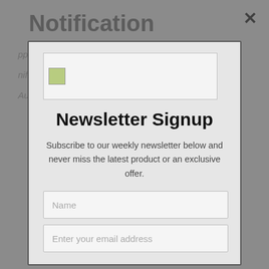Notification
Applicants will receive mailed letter...
...notification of beginning date to start year...
August 15, 2022
[Figure (screenshot): Newsletter Signup modal popup overlaid on a page. The modal contains a newsletter signup form with title 'Newsletter Signup', descriptive text, Name input field, and Enter your email address input field. Background shows a dimmed page with 'Notification' heading, some text about applicants receiving mailed letters, and 'FAQs' section.]
Newsletter Signup
Subscribe to our weekly newsletter below and never miss the latest product or an exclusive offer.
FAQs
Name
Enter your email address